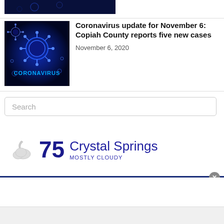[Figure (photo): Partial view of a dark coronavirus-themed thumbnail image at the top]
[Figure (photo): Dark blue coronavirus image thumbnail with glowing blue virus particles and text 'CORONAVIRUS']
Coronavirus update for November 6: Copiah County reports five new cases
November 6, 2020
Search
[Figure (infographic): Weather widget showing mostly cloudy night icon, temperature 75, location Crystal Springs, condition MOSTLY CLOUDY]
[Figure (other): Advertisement block with blue top bar and close button]